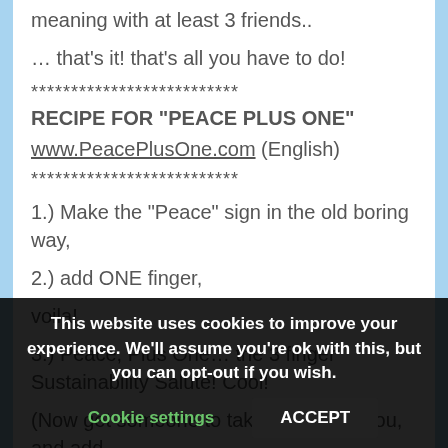meaning with at least 3 friends..
… that's it! that's all you have to do!
**************************
RECIPE FOR "PEACE PLUS ONE"
www.PeacePlusOne.com (English)
**************************
1.) Make the "Peace" sign in the old boring way,
2.) add ONE finger,
voila!
3.) Peace, Plus One… the 3 finger Sustainability Salute! Cool!
(Now get someone to take a photo of you, and add
This website uses cookies to improve your experience. We'll assume you're ok with this, but you can opt-out if you wish.
Cookie settings
ACCEPT